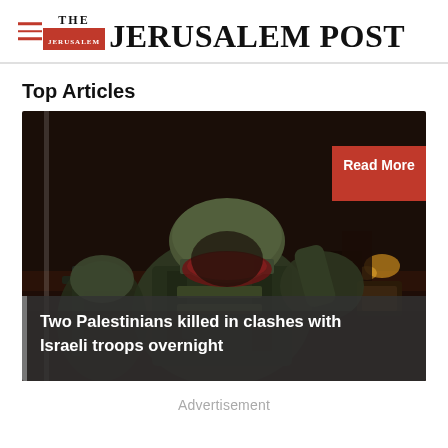THE JERUSALEM POST
Top Articles
[Figure (photo): Night-time photo of soldiers in military gear with helmets and tactical equipment, with a 'Read More' button overlay in the top right corner and an article headline overlay at the bottom reading 'Two Palestinians killed in clashes with Israeli troops overnight']
Two Palestinians killed in clashes with Israeli troops overnight
Advertisement